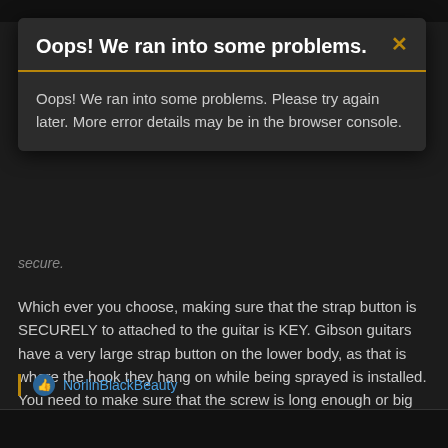[Figure (screenshot): Error modal dialog with dark background and gold border at bottom of header. Title: 'Oops! We ran into some problems.' with an X close button. Body text: 'Oops! We ran into some problems. Please try again later. More error details may be in the browser console.']
secure.
Which ever you choose, making sure that the strap button is SECURELY to attached to the guitar is KEY. Gibson guitars have a very large strap button on the lower body, as that is where the hook they hang on while being sprayed is installed. You need to make sure that the screw is long enough or big enough to get a good grip. Also making sure the locking end is attached to the strap is key. With dunlops, they can pretty much never come off the strap by mistake, and with ernie ball locks, the mechanism itself means that even if the strap lock nut comes undone, nothing happens.
NorlinBlackBeauty